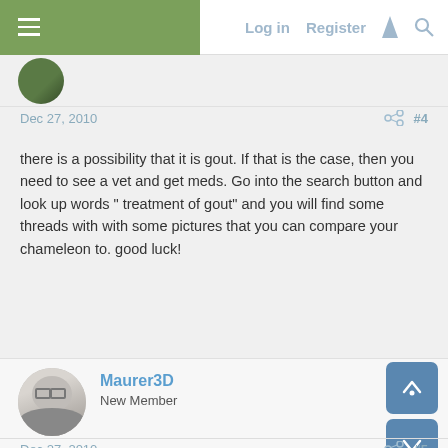Log in  Register
Dec 27, 2010  #4
there is a possibility that it is gout. If that is the case, then you need to see a vet and get meds. Go into the search button and look up words " treatment of gout" and you will find some threads with with some pictures that you can compare your chameleon to. good luck!
Maurer3D
New Member
Dec 27, 2010  #5